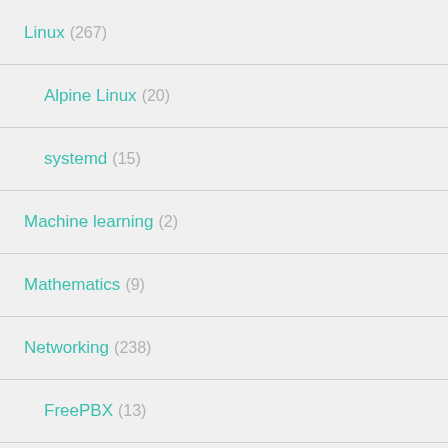Linux (267)
Alpine Linux (20)
systemd (15)
Machine learning (2)
Mathematics (9)
Networking (238)
FreePBX (13)
MikroTik (29)
MQTT (17)
nginx (27)
OpenWRT (4)